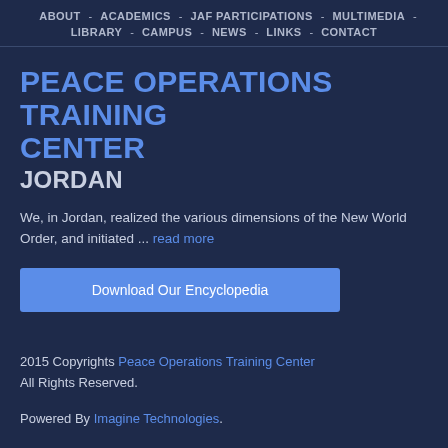ABOUT - ACADEMICS - JAF PARTICIPATIONS - MULTIMEDIA - LIBRARY - CAMPUS - NEWS - LINKS - CONTACT
PEACE OPERATIONS TRAINING CENTER JORDAN
We, in Jordan, realized the various dimensions of the New World Order, and initiated ... read more
Download Our Encyclopedia
2015 Copyrights Peace Operations Training Center All Rights Reserved.
Powered By Imagine Technologies.